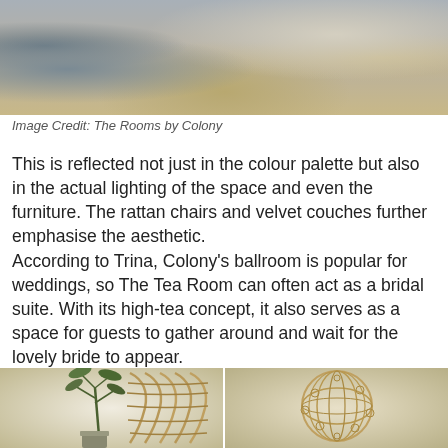[Figure (photo): Interior room photo showing a sitting area with a marble side table, stacked books, plants, a patterned rug, and a gold-framed mirror in the background]
Image Credit: The Rooms by Colony
This is reflected not just in the colour palette but also in the actual lighting of the space and even the furniture. The rattan chairs and velvet couches further emphasise the aesthetic.
According to Trina, Colony's ballroom is popular for weddings, so The Tea Room can often act as a bridal suite. With its high-tea concept, it also serves as a space for guests to gather around and wait for the lovely bride to appear.
[Figure (photo): Two photos of rattan/wicker chair and decorative wicker sphere, with tropical plants visible]